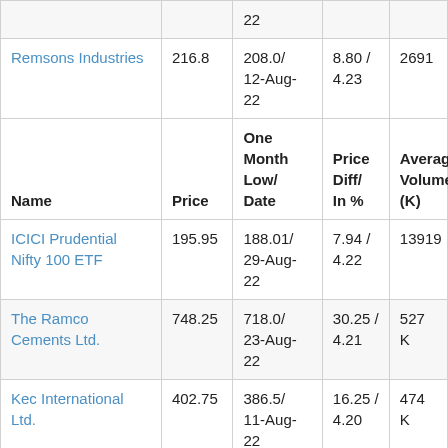| Name | Price | One Month Low/ Date | Price Diff/ In % | Average Volume (K) |
| --- | --- | --- | --- | --- |
| (partial row top) |  | 22 |  |  |
| Remsons Industries | 216.8 | 208.0/ 12-Aug-22 | 8.80 / 4.23 | 2691 |
| (header repeat) |  |  |  |  |
| ICICI Prudential Nifty 100 ETF | 195.95 | 188.01/ 29-Aug-22 | 7.94 / 4.22 | 13919 |
| The Ramco Cements Ltd. | 748.25 | 718.0/ 23-Aug-22 | 30.25 / 4.21 | 527 K |
| Kec International Ltd. | 402.75 | 386.5/ 11-Aug-22 | 16.25 / 4.20 | 474 K |
| SGBFEB27 Ltd. | 4960.0 | 4759.9/ | 200.10 / | 22 |